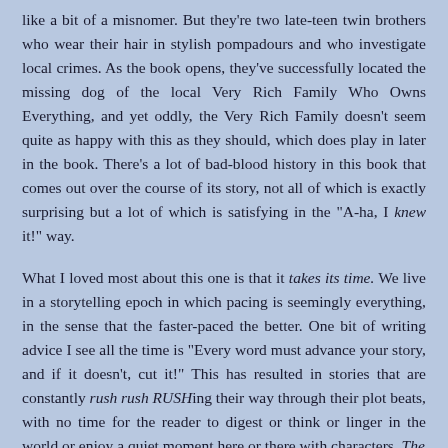like a bit of a misnomer. But they're two late-teen twin brothers who wear their hair in stylish pompadours and who investigate local crimes. As the book opens, they've successfully located the missing dog of the local Very Rich Family Who Owns Everything, and yet oddly, the Very Rich Family doesn't seem quite as happy with this as they should, which does play in later in the book. There's a lot of bad-blood history in this book that comes out over the course of its story, not all of which is exactly surprising but a lot of which is satisfying in the "A-ha, I knew it!" way.
What I loved most about this one is that it takes its time. We live in a storytelling epoch in which pacing is seemingly everything, in the sense that the faster-paced the better. One bit of writing advice I see all the time is "Every word must advance your story, and if it doesn't, cut it!" This has resulted in stories that are constantly rush rush RUSHing their way through their plot beats, with no time for the reader to digest or think or linger in the world or enjoy a quiet moment here or there with characters. The